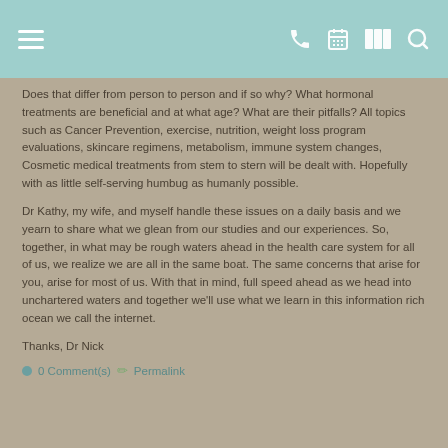[Navigation bar with menu, phone, calendar, map, and search icons]
Does that differ from person to person and if so why?  What hormonal treatments are beneficial and at what age?  What are their pitfalls?  All topics such as Cancer Prevention, exercise, nutrition, weight loss program evaluations, skincare regimens, metabolism, immune system changes, Cosmetic medical treatments from stem to stern will be dealt with. Hopefully with as little self-serving humbug as humanly possible.
Dr Kathy, my wife, and myself handle these issues on a daily basis and we yearn to share what we glean from our studies and our experiences. So,  together, in what may be rough waters ahead in the health care system for all of us,  we realize we are all in the same boat. The same concerns that arise for you, arise for most of us.  With that in mind, full speed ahead as we head into unchartered waters and together we'll use what we learn in this information rich ocean we call the internet.
Thanks, Dr Nick
● 0 Comment(s)  ✏ Permalink